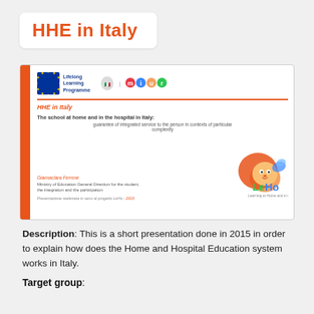HHE in Italy
[Figure (screenshot): Preview card of a presentation titled 'HHE in Italy' with EU Lifelong Learning Programme logo, MIUR logo, orange vertical bar, text content, and LeHo lion mascot logo. The card shows a document cover: 'The school at home and in the hospital in Italy: guarantee of integrated service to the person in contexts of particular complexity', authored by Giannaclara Ferrone, Ministry of Education General Direction for the student, the integration and the participation. Presentazione realizzata in seno al progetto LeHo - 2015.]
Description: This is a short presentation done in 2015 in order to explain how does the Home and Hospital Education system works in Italy.
Target group: